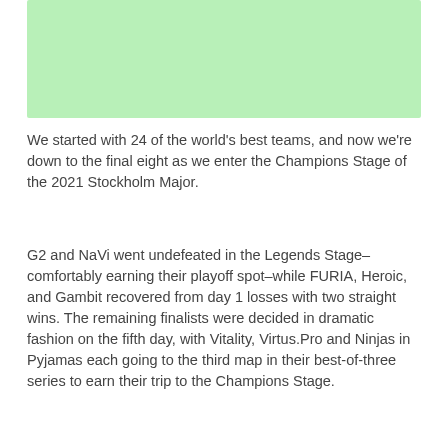[Figure (other): Light green rectangular placeholder image area]
We started with 24 of the world's best teams, and now we're down to the final eight as we enter the Champions Stage of the 2021 Stockholm Major.
G2 and NaVi went undefeated in the Legends Stage–comfortably earning their playoff spot–while FURIA, Heroic, and Gambit recovered from day 1 losses with two straight wins. The remaining finalists were decided in dramatic fashion on the fifth day, with Vitality, Virtus.Pro and Ninjas in Pyjamas each going to the third map in their best-of-three series to earn their trip to the Champions Stage.